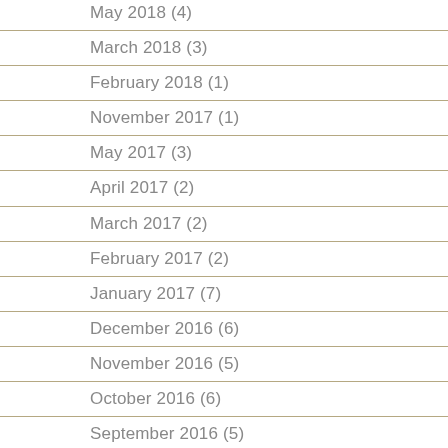May 2018 (4)
March 2018 (3)
February 2018 (1)
November 2017 (1)
May 2017 (3)
April 2017 (2)
March 2017 (2)
February 2017 (2)
January 2017 (7)
December 2016 (6)
November 2016 (5)
October 2016 (6)
September 2016 (5)
August 2016 (3)